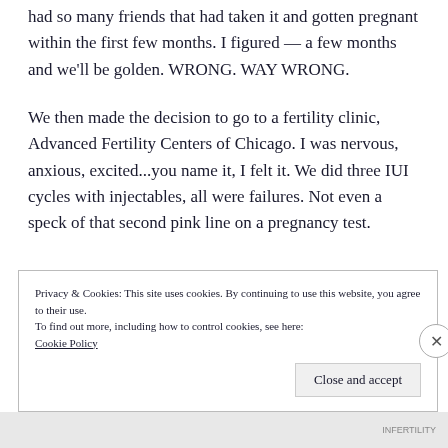had so many friends that had taken it and gotten pregnant within the first few months. I figured — a few months and we'll be golden. WRONG. WAY WRONG.
We then made the decision to go to a fertility clinic, Advanced Fertility Centers of Chicago. I was nervous, anxious, excited...you name it, I felt it. We did three IUI cycles with injectables, all were failures. Not even a speck of that second pink line on a pregnancy test.
Privacy & Cookies: This site uses cookies. By continuing to use this website, you agree to their use. To find out more, including how to control cookies, see here: Cookie Policy
Close and accept
INFERTILITY